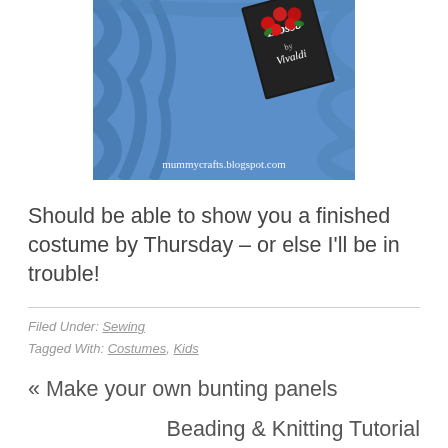[Figure (photo): A blue fabric/cloth with a book titled 'Blossom by Vivaldi' featuring red roses on the cover, placed on top. A watermark reads 'mummycrafts.blogspot.com' at the bottom of the image.]
Should be able to show you a finished costume by Thursday – or else I'll be in trouble!
Filed Under: Sewing
Tagged With: Costumes, Kids
« Make your own bunting panels
Beading & Knitting Tutorial